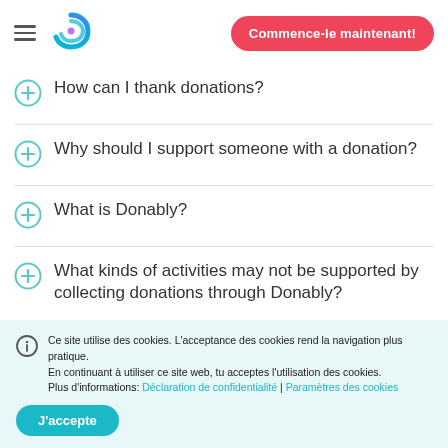[Figure (logo): Donably logo: swirling blue/purple/teal circular icon]
Commence-le maintenant!
How can I thank donations?
Why should I support someone with a donation?
What is Donably?
What kinds of activities may not be supported by collecting donations through Donably?
Ce site utilise des cookies. L'acceptance des cookies rend la navigation plus pratique.
En continuant à utiliser ce site web, tu acceptes l'utilisation des cookies.
Plus d'informations: Déclaration de confidentialité | Paramètres des cookies
J'accepte